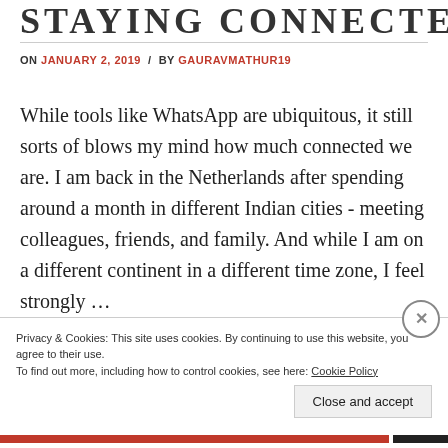STAYING CONNECTED
ON JANUARY 2, 2019 / BY GAURAVMATHUR19
While tools like WhatsApp are ubiquitous, it still sorts of blows my mind how much connected we are. I am back in the Netherlands after spending around a month in different Indian cities - meeting colleagues, friends, and family. And while I am on a different continent in a different time zone, I feel strongly …
Privacy & Cookies: This site uses cookies. By continuing to use this website, you agree to their use.
To find out more, including how to control cookies, see here: Cookie Policy
Close and accept